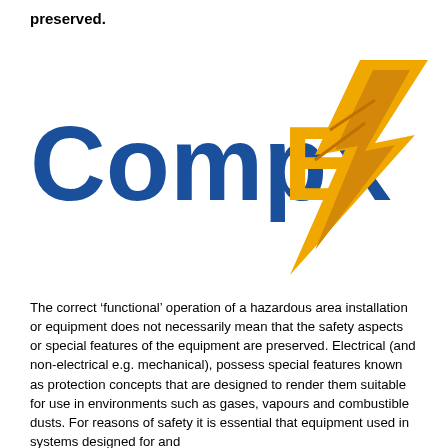preserved.
[Figure (logo): CompEx logo with blue bold text 'CompEx' and a yellow/gold lightning bolt graphic extending diagonally from upper right down through the 'Ex' letters]
The correct ‘functional’ operation of a hazardous area installation or equipment does not necessarily mean that the safety aspects or special features of the equipment are preserved. Electrical (and non-electrical e.g. mechanical), possess special features known as protection concepts that are designed to render them suitable for use in environments such as gases, vapours and combustible dusts. For reasons of safety it is essential that equipment used in systems designed for and